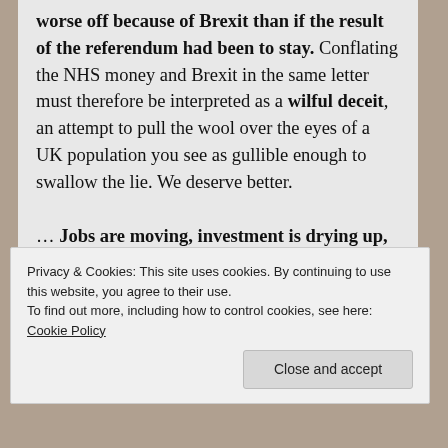worse off because of Brexit than if the result of the referendum had been to stay. Conflating the NHS money and Brexit in the same letter must therefore be interpreted as a wilful deceit, an attempt to pull the wool over the eyes of a UK population you see as gullible enough to swallow the lie. We deserve better.

… Jobs are moving, investment is drying up, firms are moving assets to the EU27 or redomiciling. The key passporting system that the financial sector relies on to sell its services across the EU has already been damaged and...
Privacy & Cookies: This site uses cookies. By continuing to use this website, you agree to their use.
To find out more, including how to control cookies, see here: Cookie Policy